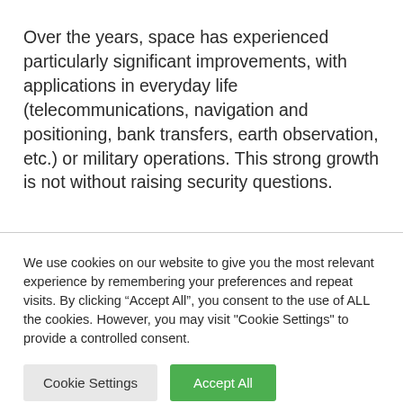Over the years, space has experienced particularly significant improvements, with applications in everyday life (telecommunications, navigation and positioning, bank transfers, earth observation, etc.) or military operations. This strong growth is not without raising security questions.
We use cookies on our website to give you the most relevant experience by remembering your preferences and repeat visits. By clicking “Accept All”, you consent to the use of ALL the cookies. However, you may visit "Cookie Settings" to provide a controlled consent.